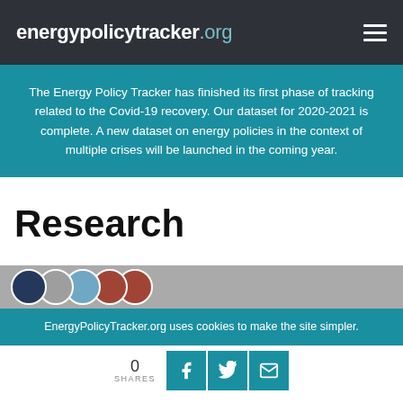energypolicytracker.org
The Energy Policy Tracker has finished its first phase of tracking related to the Covid-19 recovery. Our dataset for 2020-2021 is complete. A new dataset on energy policies in the context of multiple crises will be launched in the coming year.
Research
[Figure (photo): A strip showing overlapping circular profile images in dark blue, grey, teal, and dark red/brown colors against a grey background]
EnergyPolicyTracker.org uses cookies to make the site simpler.
0 SHARES